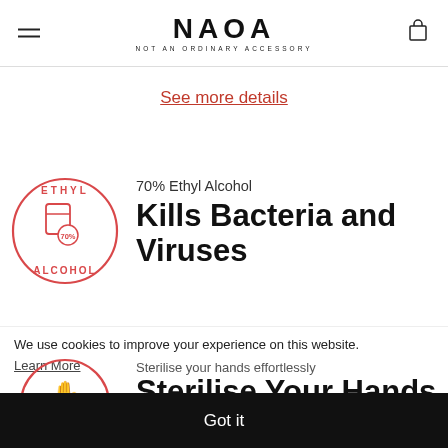NAOA — NOT AN ORDINARY ACCESSORY
See more details
[Figure (illustration): Circular badge with pink border showing ethyl alcohol bottle icon, text ETHYL at top and ALCOHOL at bottom, 70% label in center]
70% Ethyl Alcohol — Kills Bacteria and Viruses
We use cookies to improve your experience on this website.
Learn More
Sterilise your hands effortlessly
Sterilise Your Hands
[Figure (illustration): Circular badge with pink border showing hand with sparkle icons, text HANDS at bottom]